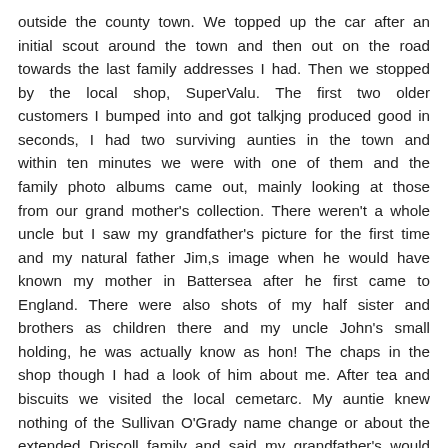outside the county town. We topped up the car after an initial scout around the town and then out on the road towards the last family addresses I had. Then we stopped by the local shop, SuperValu. The first two older customers I bumped into and got talkjng produced good in seconds, I had two surviving aunties in the town and within ten minutes we were with one of them and the family photo albums came out, mainly looking at those from our grand mother's collection. There weren't a whole uncle but I saw my grandfather's picture for the first time and my natural father Jim,s image when he would have known my mother in Battersea after he first came to England. There were also shots of my half sister and brothers as children there and my uncle John's small holding, he was actually know as hon! The chaps in the shop though I had a look of him about me. After tea and biscuits we visited the local cemetarc. My auntie knew nothing of the Sullivan O'Grady name change or about the extended Driscoll family and said my grandfather's would have surely talked abiut anything she knew as she loved the gossip. I did get the locations of my uncles and aunts and who was alive or dead and a couple of anecdotes about my grandfather's army service, it seems he was in charge of loss who were fruit picking in kent. I guess this must have been in the great war.